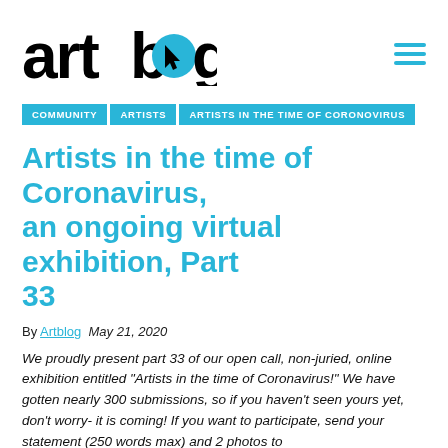[Figure (logo): Artblog logo with cursor icon replacing the 'o' in blog, in black text with cyan/teal circle]
COMMUNITY | ARTISTS | ARTISTS IN THE TIME OF CORONOVIRUS
Artists in the time of Coronavirus, an ongoing virtual exhibition, Part 33
By Artblog  May 21, 2020
We proudly present part 33 of our open call, non-juried, online exhibition entitled "Artists in the time of Coronavirus!" We have gotten nearly 300 submissions, so if you haven't seen yours yet, don't worry- it is coming! If you want to participate, send your statement (250 words max) and 2 photos to support@theartblog.org.